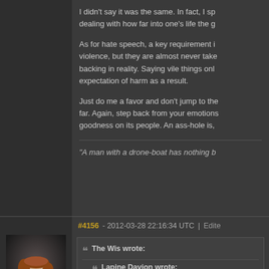I didn't say it was the same. In fact, I sp... dealing with how far into one's life the g...
As for hate speech, a key requirement i... violence, but they are almost never take... backing in reality. Saying vile things onl... expectation of harm as a result.
Just do me a favor and don't jump to the... far. Again, step back from your emotions... goodness on its people. An ass-hole is,
"A man with a drone-boat has nothing b...
#4156 - 2012-03-28 22:16:34 UTC | Edite...
[Figure (photo): 3D rendered character portrait of a young man with reddish-brown hair, wearing a dark jacket, looking slightly downward.]
The Wis wrote:
Lapine Davion wrote:
RougeOperator wrote: